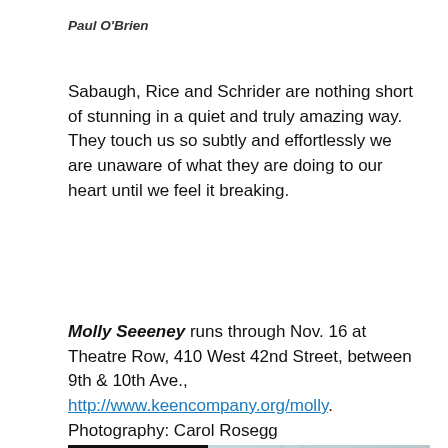Paul O'Brien
Sabaugh, Rice and Schrider are nothing short of stunning in a quiet and truly amazing way. They touch us so subtly and effortlessly we are unaware of what they are doing to our heart until we feel it breaking.
Molly Seeeney runs through Nov. 16 at Theatre Row, 410 West 42nd Street, between 9th & 10th Ave., http://www.keencompany.org/molly. Photography: Carol Rosegg
[Figure (photo): Keen Company logo and Molly Sweeney show poster with dark background, featuring the Keen Company logo in green on black and large text reading MOLLY SWEENEY]